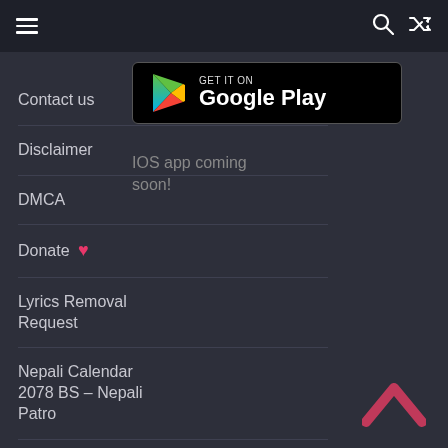Navigation menu header with hamburger icon, search icon, and shuffle icon
Contact us
Disclaimer
DMCA
Donate ❤
Lyrics Removal Request
Nepali Calendar 2078 BS – Nepali Patro
Privacy Policy
Request Lyrics
Submit Lyrics
Terms And Conditions
[Figure (logo): Get it on Google Play store button — black rounded rectangle with Google Play logo triangle (red, yellow, blue, green) and text 'GET IT ON Google Play']
IOS app coming soon!